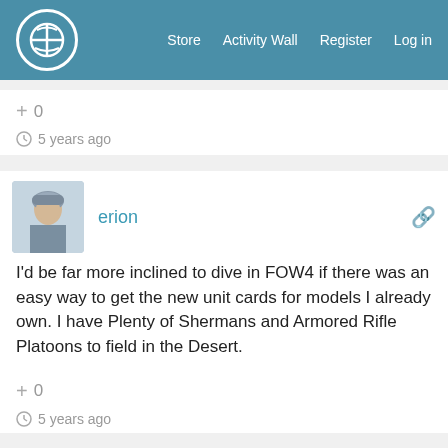Store  Activity Wall  Register  Log in
+ 0
5 years ago
erion
I'd be far more inclined to dive in FOW4 if there was an easy way to get the new unit cards for models I already own. I have Plenty of Shermans and Armored Rifle Platoons to field in the Desert.
+ 0
5 years ago
zorg
a great funny show guys, @warzan plays as manimal? the us